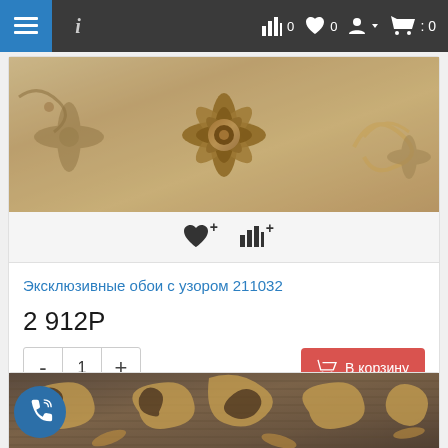[Figure (screenshot): Navigation bar with hamburger menu, info icon, chart icon with 0, heart icon with 0, user icon, and cart icon with 0]
[Figure (photo): Beige and brown decorative wallpaper with floral and ornamental pattern]
Эксклюзивные обои с узором 211032
2 912Р
[Figure (screenshot): Quantity selector showing minus, 1, plus buttons and В корзину (Add to cart) red button]
Купить в 1 клик
[Figure (photo): Dark brown wallpaper with golden beige ornamental scrollwork pattern]